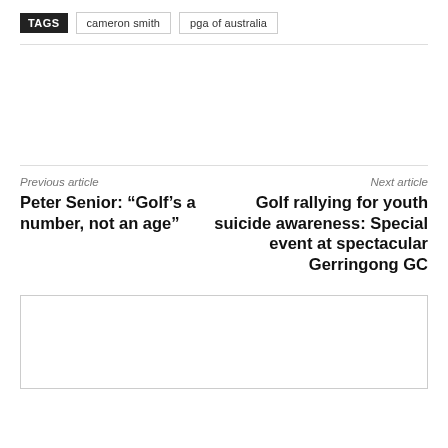TAGS  cameron smith  pga of australia
Previous article
Next article
Peter Senior: “Golf’s a number, not an age”
Golf rallying for youth suicide awareness: Special event at spectacular Gerringong GC
[Figure (other): Empty bordered rectangle at bottom of page (comment/ad placeholder)]